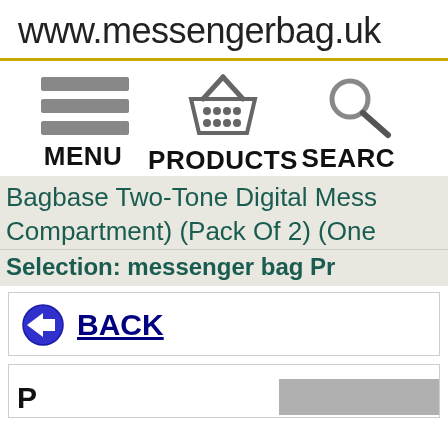www.messengerbag.uk
[Figure (screenshot): Navigation bar with hamburger menu icon, shopping basket icon, and magnifying glass search icon, with labels MENU, PRODUCTS, SEARCH]
Bagbase Two-Tone Digital Mess... Compartment) (Pack Of 2) (One...
Selection: messenger bag Pr...
BACK
[Figure (screenshot): Bottom area showing partial text and a gray button]